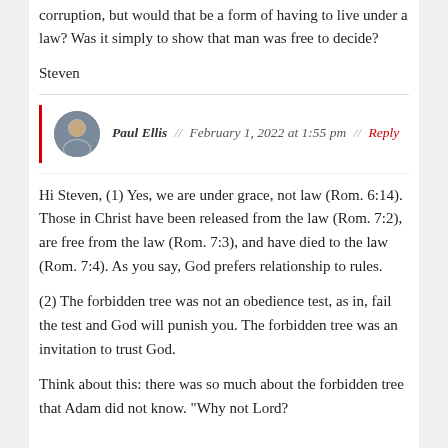corruption, but would that be a form of having to live under a law? Was it simply to show that man was free to decide?
Steven
Paul Ellis // February 1, 2022 at 1:55 pm // Reply
Hi Steven, (1) Yes, we are under grace, not law (Rom. 6:14). Those in Christ have been released from the law (Rom. 7:2), are free from the law (Rom. 7:3), and have died to the law (Rom. 7:4). As you say, God prefers relationship to rules.
(2) The forbidden tree was not an obedience test, as in, fail the test and God will punish you. The forbidden tree was an invitation to trust God.
Think about this: there was so much about the forbidden tree that Adam did not know. "Why not Lord?